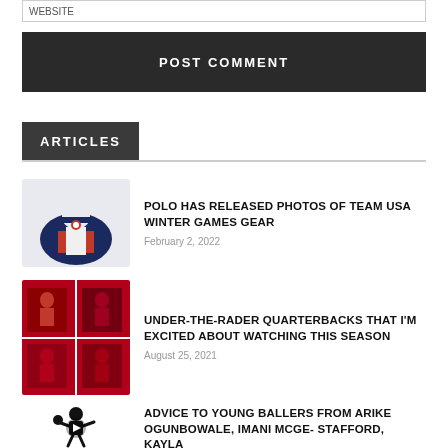WEBSITE
POST COMMENT
ARTICLES
[Figure (photo): Photo of Team USA winter jacket/vest in navy and white with red accents]
POLO HAS RELEASED PHOTOS OF TEAM USA WINTER GAMES GEAR
February 2, 2022
[Figure (photo): Collage of college football quarterbacks in red uniforms during games]
UNDER-THE-RADER QUARTERBACKS THAT I'M EXCITED ABOUT WATCHING THIS SEASON
August 25, 2021
[Figure (illustration): Silhouette of a basketball player dribbling with a play button icon overlay]
ADVICE TO YOUNG BALLERS FROM ARIKE OGUNBOWALE, IMANI MCGE- STAFFORD, KAYLA